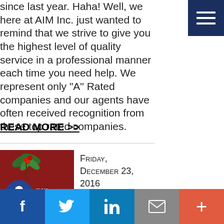[Figure (logo): Dark blue navigation menu hamburger button in top-right corner]
since last year. Haha! Well, we here at AIM Inc. just wanted to remind that we strive to give you the highest level of quality service in a professional manner each time you need help. We represent only "A" Rated companies and our agents have often received recognition from these top rated companies.
READ MORE >>
[Figure (photo): Christmas themed thumbnail image with red background, holly decoration, circular logo icon with person figure, and cursive script text]
Friday, December 23, 2016
[Figure (infographic): Social media share bar with Facebook, Twitter, LinkedIn, Email, and plus buttons]